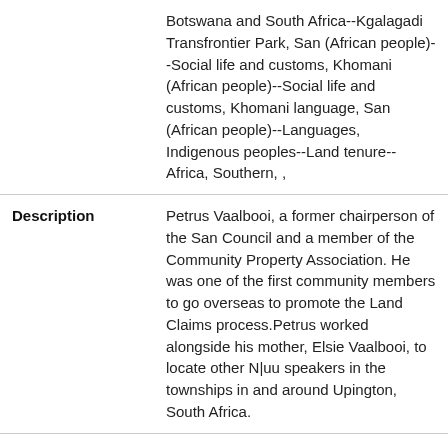| Field | Value |
| --- | --- |
|  | Botswana and South Africa--Kgalagadi Transfrontier Park, San (African people)--Social life and customs, Khomani (African people)--Social life and customs, Khomani language, San (African people)--Languages, Indigenous peoples--Land tenure--Africa, Southern, , |
| Description | Petrus Vaalbooi, a former chairperson of the San Council and a member of the Community Property Association. He was one of the first community members to go overseas to promote the Land Claims process.Petrus worked alongside his mother, Elsie Vaalbooi, to locate other N|uu speakers in the townships in and around Upington, South Africa. |
| Identifier | islandora:27134 |